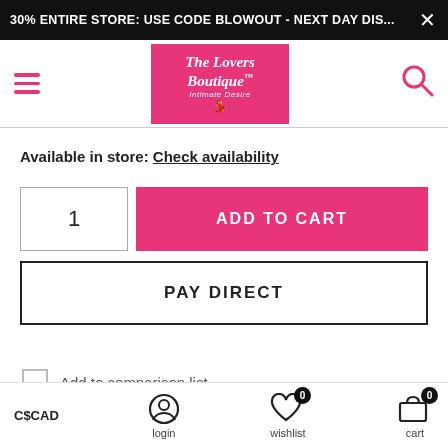30% ENTIRE STORE: USE CODE BLOWOUT - NEXT DAY DIS... ×
[Figure (logo): The Lovers Boutique logo - pink background with white italic text and illustrated lady figure]
Available in store: Check availability
1  ADD TO CART
PAY DIRECT
Add to comparison list
C$CAD   login   wishlist 0   cart 0